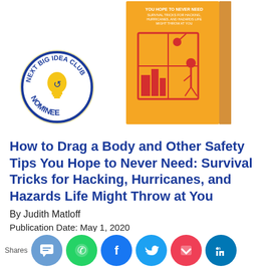[Figure (photo): Book cover of 'How to Drag a Body and Other Safety Tips You Hope to Never Need' on orange background with a badge overlay reading 'Next Big Idea Club Nominee']
How to Drag a Body and Other Safety Tips You Hope to Never Need: Survival Tricks for Hacking, Hurricanes, and Hazards Life Might Throw at You
By Judith Matloff
Publication Date: May 1, 2020
[Figure (infographic): Social share buttons: SMS, WhatsApp, Facebook, Twitter, Pocket, LinkedIn with a 'Shares' label]